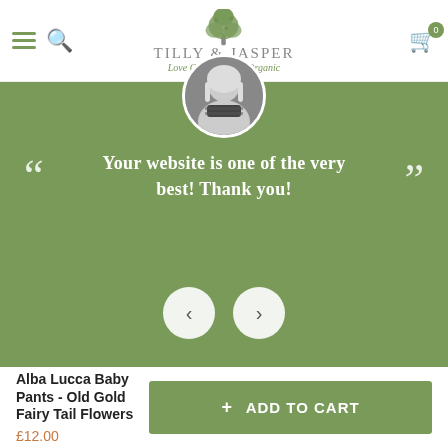Tilly & Jasper — Love Organic, Live Organic
[Figure (screenshot): Testimonial section with circular profile photo of a woman with blonde hair, green background, quotation marks and text: Your website is one of the very best! Thank you! with navigation arrows below.]
Your website is one of the very best! Thank you!
Alba Lucca Baby Pants - Old Gold Fairy Tail Flowers
£12.00
+ ADD TO CART